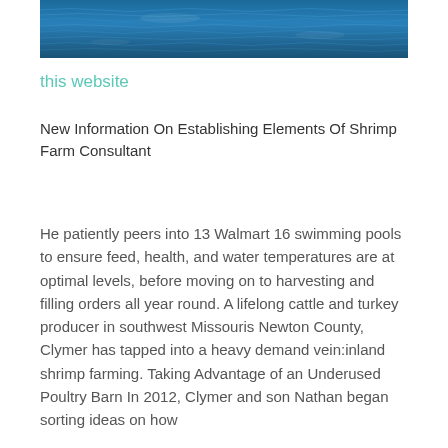[Figure (photo): Blue ocean water surface texture, rippled water close-up aerial/top-down view]
this website
New Information On Establishing Elements Of Shrimp Farm Consultant
He patiently peers into 13 Walmart 16 swimming pools to ensure feed, health, and water temperatures are at optimal levels, before moving on to harvesting and filling orders all year round. A lifelong cattle and turkey producer in southwest Missouris Newton County, Clymer has tapped into a heavy demand vein:inland shrimp farming. Taking Advantage of an Underused Poultry Barn In 2012, Clymer and son Nathan began sorting ideas on how